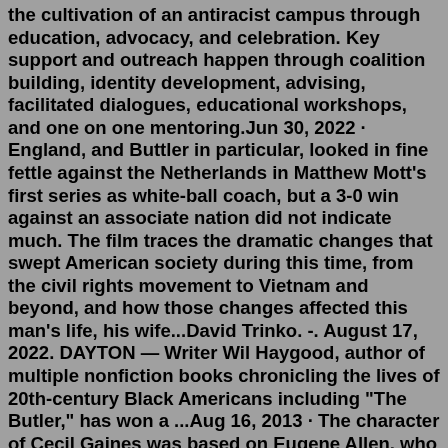the cultivation of an antiracist campus through education, advocacy, and celebration. Key support and outreach happen through coalition building, identity development, advising, facilitated dialogues, educational workshops, and one on one mentoring.Jun 30, 2022 · England, and Buttler in particular, looked in fine fettle against the Netherlands in Matthew Mott's first series as white-ball coach, but a 3-0 win against an associate nation did not indicate much. The film traces the dramatic changes that swept American society during this time, from the civil rights movement to Vietnam and beyond, and how those changes affected this man's life, his wife...David Trinko. -. August 17, 2022. DAYTON — Writer Wil Haygood, author of multiple nonfiction books chronicling the lives of 20th-century Black Americans including "The Butler," has won a ...Aug 16, 2013 · The character of Cecil Gaines was based on Eugene Allen, who served as White House butler for over 30 years and 8 presidents: Harry S. Truman, Dwight D. Eisenhower, John F. Kennedy,